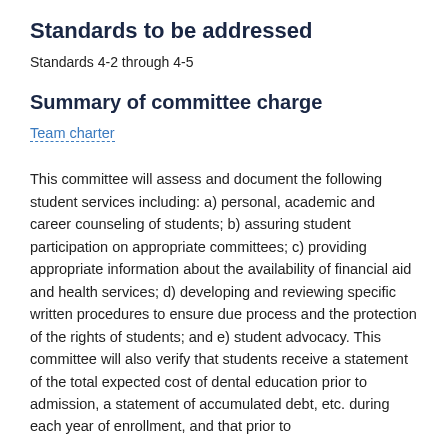Standards to be addressed
Standards 4-2 through 4-5
Summary of committee charge
Team charter
This committee will assess and document the following student services including: a) personal, academic and career counseling of students; b) assuring student participation on appropriate committees; c) providing appropriate information about the availability of financial aid and health services; d) developing and reviewing specific written procedures to ensure due process and the protection of the rights of students; and e) student advocacy. This committee will also verify that students receive a statement of the total expected cost of dental education prior to admission, a statement of accumulated debt, etc. during each year of enrollment, and that prior to